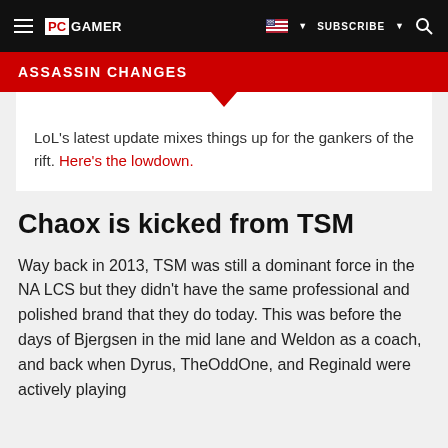PC GAMER | SUBSCRIBE | [search icon]
ASSASSIN CHANGES
LoL's latest update mixes things up for the gankers of the rift. Here's the lowdown.
Chaox is kicked from TSM
Way back in 2013, TSM was still a dominant force in the NA LCS but they didn't have the same professional and polished brand that they do today. This was before the days of Bjergsen in the mid lane and Weldon as a coach, and back when Dyrus, TheOddOne, and Reginald were actively playing